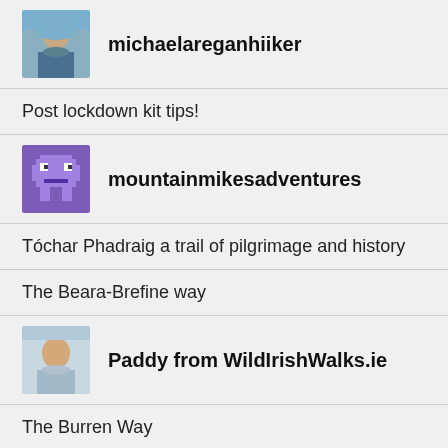michaelareganhiiker
Post lockdown kit tips!
mountainmikesadventures
Tóchar Phadraig a trail of pilgrimage and history
The Beara-Brefine way
Paddy from WildIrishWalks.ie
The Burren Way
robbieoraw
The E8 Trail Days Nine and Ten: Rest Day and Clonmel